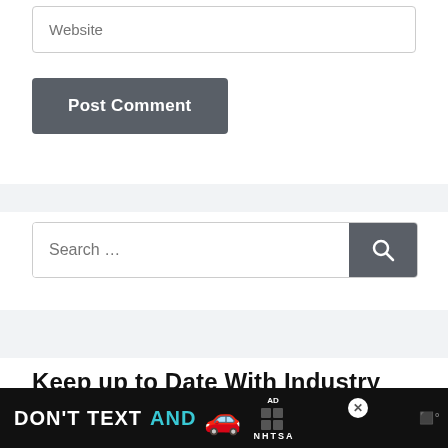Website
Post Comment
Search …
Keep up to Date With Industry News
[Figure (screenshot): Ad banner at bottom: DON'T TEXT AND [car emoji] with ad badge and NHTSA logo on dark background]